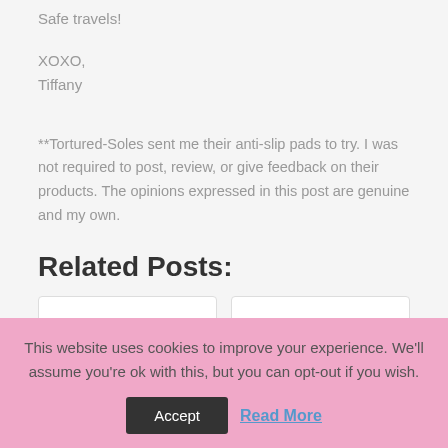Safe travels!
XOXO,
Tiffany
**Tortured-Soles sent me their anti-slip pads to try. I was not required to post, review, or give feedback on their products. The opinions expressed in this post are genuine and my own.
Related Posts:
This website uses cookies to improve your experience. We'll assume you're ok with this, but you can opt-out if you wish.
Accept
Read More